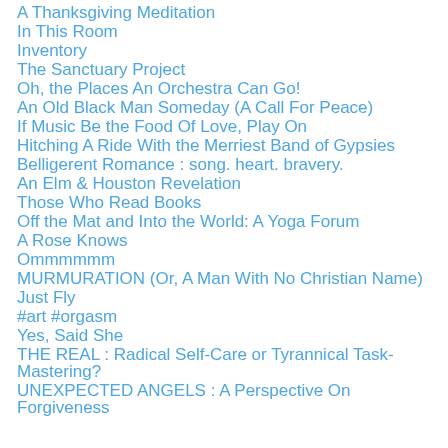A Thanksgiving Meditation
In This Room
Inventory
The Sanctuary Project
Oh, the Places An Orchestra Can Go!
An Old Black Man Someday (A Call For Peace)
If Music Be the Food Of Love, Play On
Hitching A Ride With the Merriest Band of Gypsies
Belligerent Romance : song. heart. bravery.
An Elm & Houston Revelation
Those Who Read Books
Off the Mat and Into the World: A Yoga Forum
A Rose Knows
Ommmmmm
MURMURATION (Or, A Man With No Christian Name)
Just Fly
#art #orgasm
Yes, Said She
THE REAL : Radical Self-Care or Tyrannical Task-Mastering?
UNEXPECTED ANGELS : A Perspective On Forgiveness